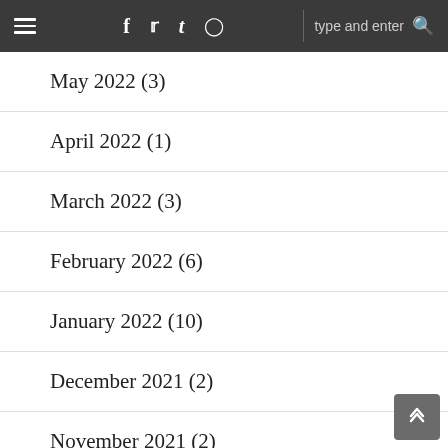≡  f  t  ✦  ☷  type and enter  🔍
May 2022 (3)
April 2022 (1)
March 2022 (3)
February 2022 (6)
January 2022 (10)
December 2021 (2)
November 2021 (2)
September 2021 (4)
August 2021 (4)